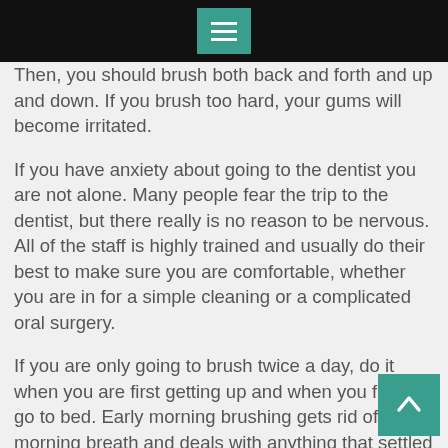[menu icon / navigation bar]
Then, you should brush both back and forth and up and down. If you brush too hard, your gums will become irritated.
If you have anxiety about going to the dentist you are not alone. Many people fear the trip to the dentist, but there really is no reason to be nervous. All of the staff is highly trained and usually do their best to make sure you are comfortable, whether you are in for a simple cleaning or a complicated oral surgery.
If you are only going to brush twice a day, do it when you are first getting up and when you finally go to bed. Early morning brushing gets rid of morning breath and deals with anything that settled in during your sleep. Brushing at bedtime helps your plaque-fighting saliva out, since it is going to dry up overnight.